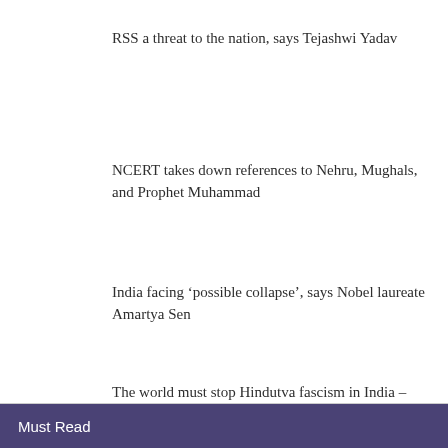RSS a threat to the nation, says Tejashwi Yadav
NCERT takes down references to Nehru, Mughals, and Prophet Muhammad
India facing ‘possible collapse’, says Nobel laureate Amartya Sen
The world must stop Hindutva fascism in India – Ajit Sahi
Must Read